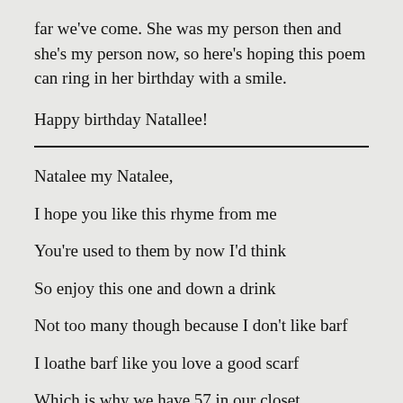far we've come. She was my person then and she's my person now, so here's hoping this poem can ring in her birthday with a smile.
Happy birthday Natallee!
Natalee my Natalee,
I hope you like this rhyme from me
You're used to them by now I'd think
So enjoy this one and down a drink
Not too many though because I don't like barf
I loathe barf like you love a good scarf
Which is why we have 57 in our closet